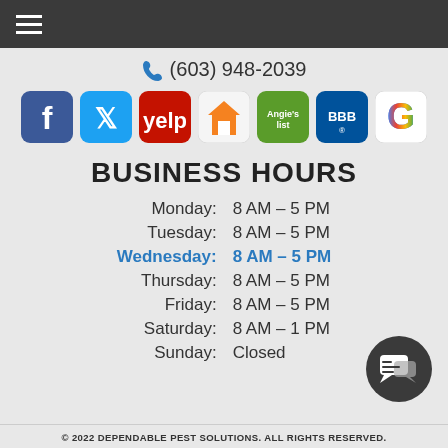☰
(603) 948-2039
[Figure (logo): Row of social media icons: Facebook, Twitter, Yelp, HomeAdvisor, Angie's List, BBB, Google]
BUSINESS HOURS
| Day | Hours |
| --- | --- |
| Monday: | 8 AM – 5 PM |
| Tuesday: | 8 AM – 5 PM |
| Wednesday: | 8 AM – 5 PM |
| Thursday: | 8 AM – 5 PM |
| Friday: | 8 AM – 5 PM |
| Saturday: | 8 AM – 1 PM |
| Sunday: | Closed |
[Figure (illustration): Chat/messaging button icon in dark circle]
© 2022 DEPENDABLE PEST SOLUTIONS. ALL RIGHTS RESERVED.